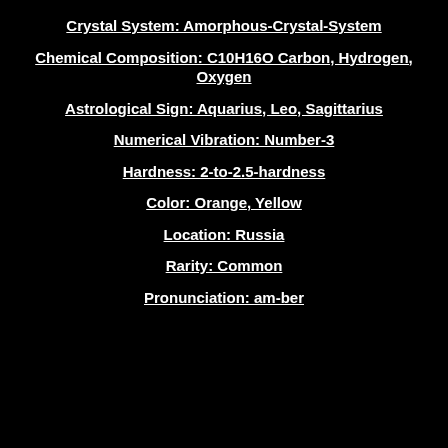Crystal System: Amorphous-Crystal-System
Chemical Composition: C10H16O Carbon, Hydrogen, Oxygen
Astrological Sign: Aquarius, Leo, Sagittarius
Numerical Vibration: Number-3
Hardness: 2-to-2.5-hardness
Color: Orange, Yellow
Location: Russia
Rarity: Common
Pronunciation: am-ber